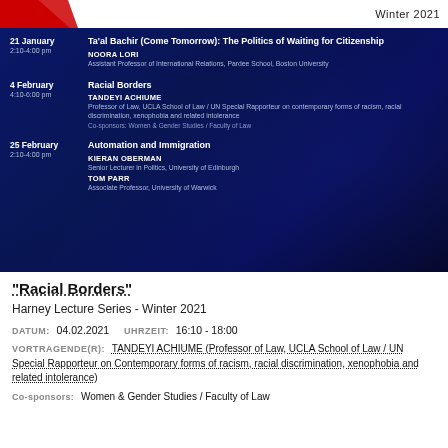[Figure (photo): Event poster with dark blue background showing a crowd of people, with three lecture listings for the Harney Lecture Series Winter 2021. Red diagonal logo bars at top left, 'Winter 2021' text at top right.]
"Racial Borders"
Harney Lecture Series - Winter 2021
DATUM: 04.02.2021   UHRZEIT: 16:10 - 18:00
VORTRAGENDE(R): TANDEYI ACHIUME (Professor of Law, UCLA School of Law / UN Special Rapporteur on Contemporary forms of racism, racial discrimination, xenophobia and related intolerance)
Co-sponsors: Women & Gender Studies / Faculty of Law